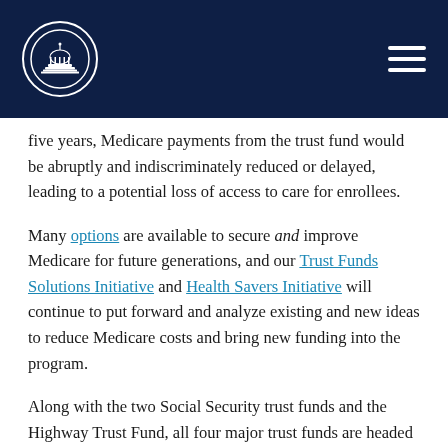[Capitol building logo] [Navigation menu icon]
five years, Medicare payments from the trust fund would be abruptly and indiscriminately reduced or delayed, leading to a potential loss of access to care for enrollees.
Many options are available to secure and improve Medicare for future generations, and our Trust Funds Solutions Initiative and Health Savers Initiative will continue to put forward and analyze existing and new ideas to reduce Medicare costs and bring new funding into the program.
Along with the two Social Security trust funds and the Highway Trust Fund, all four major trust funds are headed for insolvency in the next 13 years. Securing these trust funds would prevent abrupt across-the-board benefits cuts, assure a more sustainable debt path, promote faster economic growth, and provide the opportunity to achieve a number of important policy goals.